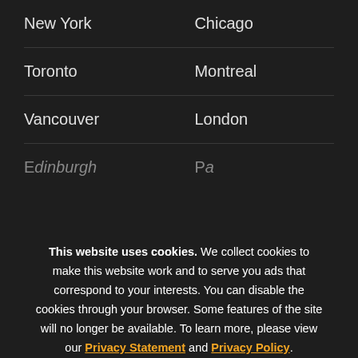New York   Chicago
Toronto   Montreal
Vancouver   London
Edinburgh...   Paris...
This website uses cookies. We collect cookies to make this website work and to serve you ads that correspond to your interests. You can disable the cookies through your browser. Some features of the site will no longer be available. To learn more, please view our Privacy Statement and Privacy Policy.
I Agree
No, Thank You
Show details